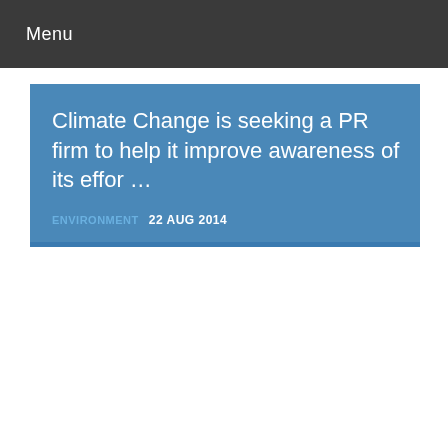Menu
Climate Change is seeking a PR firm to help it improve awareness of its effor ...
ENVIRONMENT   22 AUG 2014